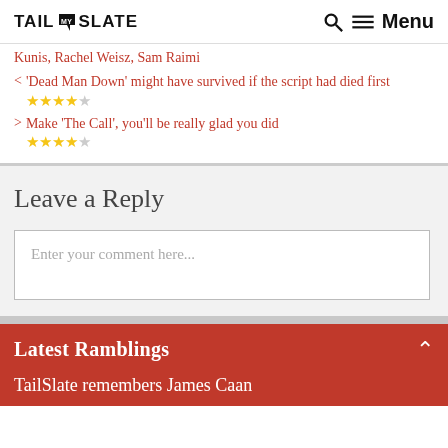TAIL SLATE | Menu
Kunis, Rachel Weisz, Sam Raimi
< 'Dead Man Down' might have survived if the script had died first ★★★½☆
> Make 'The Call', you'll be really glad you did ★★★½☆
Leave a Reply
Enter your comment here...
Latest Ramblings
TailSlate remembers James Caan